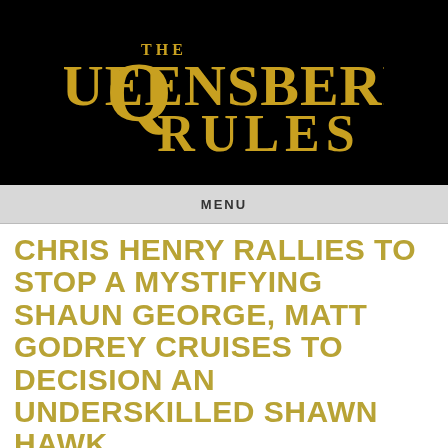[Figure (logo): The Queensberry Rules logo in gold text on black background]
MENU
CHRIS HENRY RALLIES TO STOP A MYSTIFYING SHAUN GEORGE, MATT GODREY CRUISES TO DECISION AN UNDERSKILLED SHAWN HAWK
Posted by Tim Starks on Jul 11, 2009 00:35
As it turns out, I was right when I said the light heavyweight